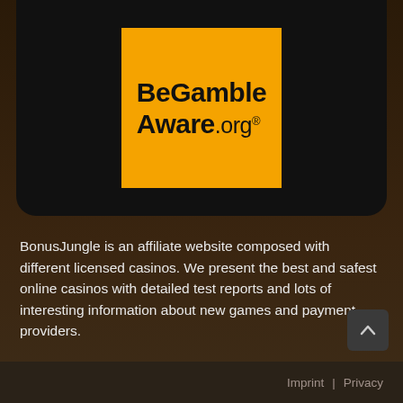[Figure (logo): BeGambleAware.org logo on orange background inside a black rounded rectangle box]
BonusJungle is an affiliate website composed with different licensed casinos. We present the best and safest online casinos with detailed test reports and lots of interesting information about new games and payment providers.
Gambling is prohibited for those under the age of 18.
Imprint  |  Privacy